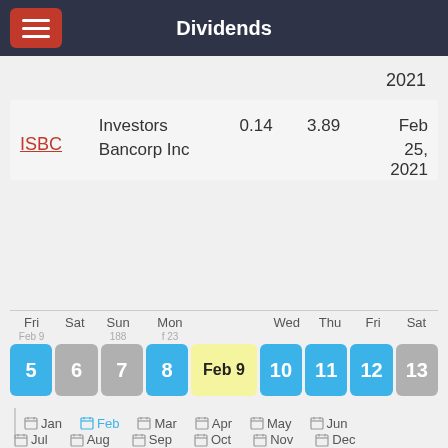Dividends
2021
| Ticker | Company | Dividend | Yield | Ex-Date |
| --- | --- | --- | --- | --- |
| ISBC | Investors Bancorp Inc | 0.14 | 3.89 | Feb 25, 2021 |
[Figure (other): Weekly calendar view showing Feb 5–13, with Feb 9 highlighted in yellow. Days 5, 8, 10, 11, 12 in blue; 6, 13 in gray; 7 in gray; 9 (Feb 9) in yellow.]
Jan  Feb  Mar  Apr  May  Jun  Jul  Aug  Sep  Oct  Nov  Dec